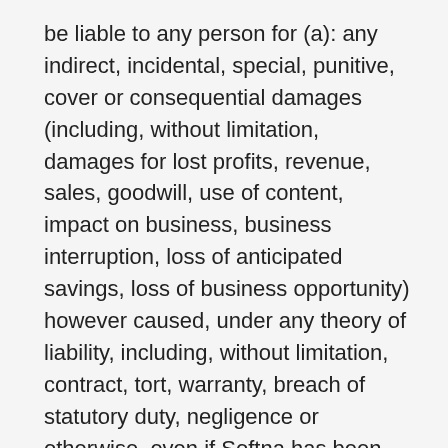be liable to any person for (a): any indirect, incidental, special, punitive, cover or consequential damages (including, without limitation, damages for lost profits, revenue, sales, goodwill, use of content, impact on business, business interruption, loss of anticipated savings, loss of business opportunity) however caused, under any theory of liability, including, without limitation, contract, tort, warranty, breach of statutory duty, negligence or otherwise, even if Softna has been advised as to the possibility of such damages or could have foreseen such damages. To the maximum extent permitted by applicable law, the aggregate liability of Softna and its affiliates, officers, employees, agents, suppliers and licensors, relating to the services will be limited to an amount greater of one dollar or any amounts actually paid in cash by you to Softna for the prior